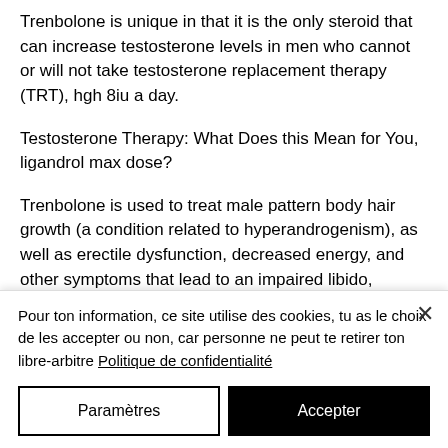Trenbolone is unique in that it is the only steroid that can increase testosterone levels in men who cannot or will not take testosterone replacement therapy (TRT), hgh 8iu a day.
Testosterone Therapy: What Does this Mean for You, ligandrol max dose?
Trenbolone is used to treat male pattern body hair growth (a condition related to hyperandrogenism), as well as erectile dysfunction, decreased energy, and other symptoms that lead to an impaired libido,
Pour ton information, ce site utilise des cookies, tu as le choix de les accepter ou non, car personne ne peut te retirer ton libre-arbitre Politique de confidentialité